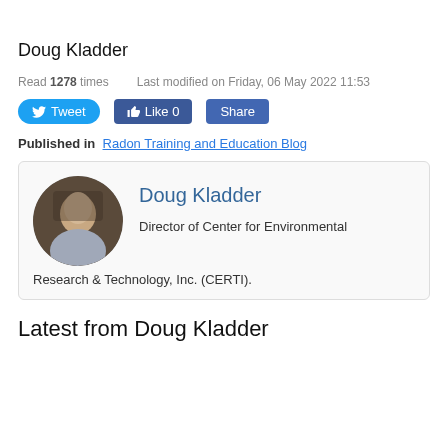Doug Kladder
Read 1278 times   Last modified on Friday, 06 May 2022 11:53
[Figure (other): Social media buttons: Tweet, Like 0, Share]
Published in  Radon Training and Education Blog
[Figure (other): Author card with circular profile photo of Doug Kladder, name in blue, and description: Director of Center for Environmental Research & Technology, Inc. (CERTI).]
Latest from Doug Kladder